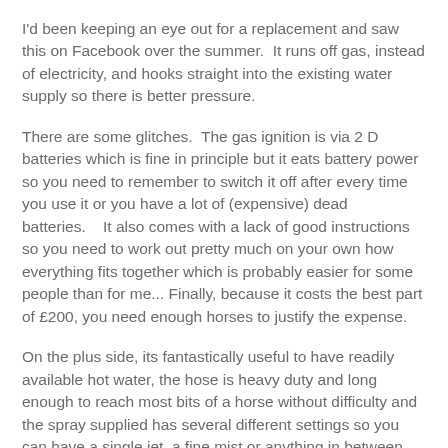I'd been keeping an eye out for a replacement and saw this on Facebook over the summer.  It runs off gas, instead of electricity, and hooks straight into the existing water supply so there is better pressure.
There are some glitches.  The gas ignition is via 2 D batteries which is fine in principle but it eats battery power so you need to remember to switch it off after every time you use it or you have a lot of (expensive) dead batteries.   It also comes with a lack of good instructions so you need to work out pretty much on your own how everything fits together which is probably easier for some people than for me... Finally, because it costs the best part of £200, you need enough horses to justify the expense.
On the plus side, its fantastically useful to have readily available hot water, the hose is heavy duty and long enough to reach most bits of a horse without difficulty and the spray supplied has several different settings so you can have a single jet, a fine mist or anything in between.